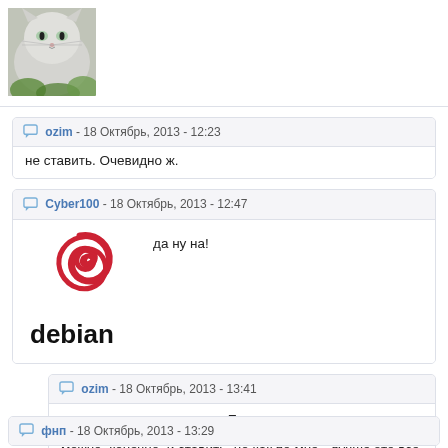[Figure (photo): A photo of a fluffy grey/white cat among green plants, partially cropped at top]
ozim - 18 Октябрь, 2013 - 12:23
не ставить. Очевидно ж.
Cyber100 - 18 Октябрь, 2013 - 12:47
[Figure (logo): Debian Linux logo: red swirl spiral above the word 'debian' in bold black lowercase]
да ну на!
ozim - 18 Октябрь, 2013 - 13:41
ну, тут смотря какая цель. Если много времени, и есть желани можно, конечно, и ставить, но как по мне - лучше это все отлавл
фнп - 18 Октябрь, 2013 - 13:29